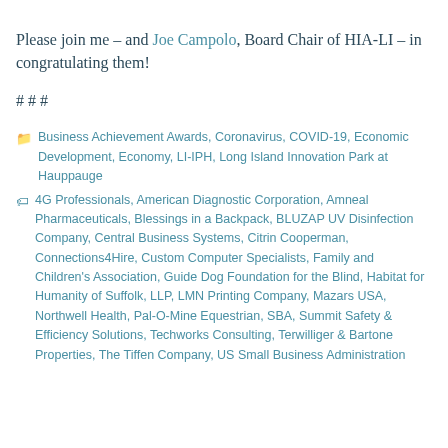Please join me – and Joe Campolo, Board Chair of HIA-LI – in congratulating them!
# # #
Categories: Business Achievement Awards, Coronavirus, COVID-19, Economic Development, Economy, LI-IPH, Long Island Innovation Park at Hauppauge
Tags: 4G Professionals, American Diagnostic Corporation, Amneal Pharmaceuticals, Blessings in a Backpack, BLUZAP UV Disinfection Company, Central Business Systems, Citrin Cooperman, Connections4Hire, Custom Computer Specialists, Family and Children's Association, Guide Dog Foundation for the Blind, Habitat for Humanity of Suffolk, LLP, LMN Printing Company, Mazars USA, Northwell Health, Pal-O-Mine Equestrian, SBA, Summit Safety & Efficiency Solutions, Techworks Consulting, Terwilliger & Bartone Properties, The Tiffen Company, US Small Business Administration